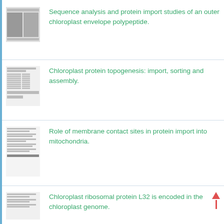[Figure (other): Thumbnail of a scientific paper page with text columns and figures]
Sequence analysis and protein import studies of an outer chloroplast envelope polypeptide.
[Figure (other): Thumbnail of a scientific paper page with text and table]
Chloroplast protein topogenesis: import, sorting and assembly.
[Figure (other): Thumbnail of a scientific paper page with text paragraphs]
Role of membrane contact sites in protein import into mitochondria.
[Figure (other): Thumbnail of a scientific paper page]
Chloroplast ribosomal protein L32 is encoded in the chloroplast genome.